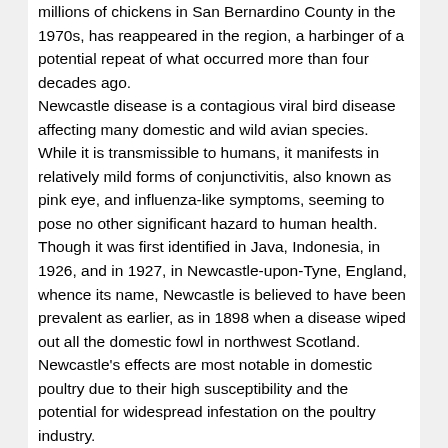millions of chickens in San Bernardino County in the 1970s, has reappeared in the region, a harbinger of a potential repeat of what occurred more than four decades ago. Newcastle disease is a contagious viral bird disease affecting many domestic and wild avian species. While it is transmissible to humans, it manifests in relatively mild forms of conjunctivitis, also known as pink eye, and influenza-like symptoms, seeming to pose no other significant hazard to human health. Though it was first identified in Java, Indonesia, in 1926, and in 1927, in Newcastle-upon-Tyne, England, whence its name, Newcastle is believed to have been prevalent as earlier, as in 1898 when a disease wiped out all the domestic fowl in northwest Scotland. Newcastle's effects are most notable in domestic poultry due to their high susceptibility and the potential for widespread infestation on the poultry industry. Newcastle typically results in swelling around a bird's eyes, a purplish swelling of the wattle and comb, a large amount of fluid coming from the beak and nasal areas, a twisting of the neck and head, loss of appetite, green